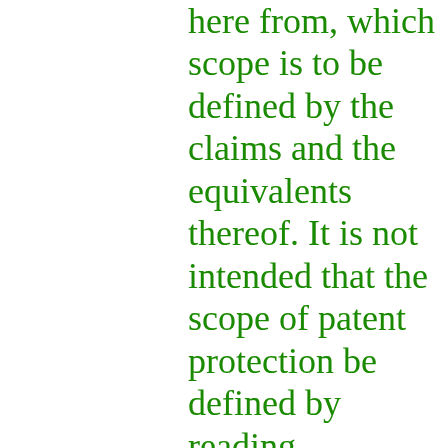here from, which scope is to be defined by the claims and the equivalents thereof. It is not intended that the scope of patent protection be defined by reading